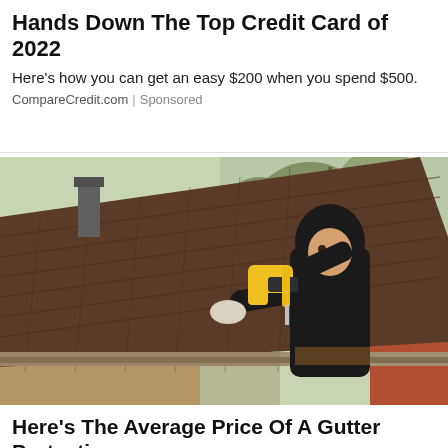Hands Down The Top Credit Card of 2022
Here's how you can get an easy $200 when you spend $500.
CompareCredit.com | Sponsored
[Figure (photo): A worker in a black hoodie using a power tool while installing or inspecting a gutter on a roof with dark shingles. Trees and a red brick building are visible in the background.]
Here's The Average Price Of A Gutter Protection
See search results for gutter protection